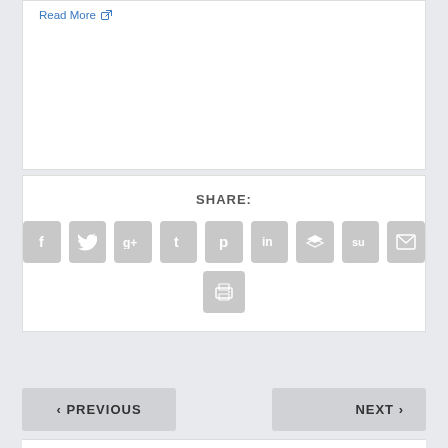Read More
SHARE:
[Figure (infographic): Social share icon buttons: Facebook, Twitter, Google+, Tumblr, Pinterest, LinkedIn, Buffer/Layers, StumbleUpon, Email, Print]
< PREVIOUS
NEXT >
Chucky Lozano discusses the magnitude of Mexico hosting World Cup matches in 2026,
USFL's playoff coaches face dilemma in Week 10: How much to show?,